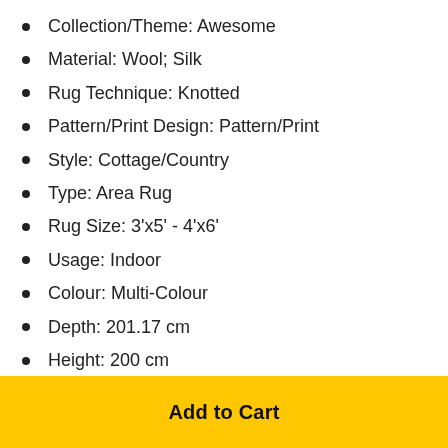Collection/Theme: Awesome
Material: Wool; Silk
Rug Technique: Knotted
Pattern/Print Design: Pattern/Print
Style: Cottage/Country
Type: Area Rug
Rug Size: 3'x5' - 4'x6'
Usage: Indoor
Colour: Multi-Colour
Depth: 201.17 cm
Height: 200 cm
Width: 125 cm
Add to Cart